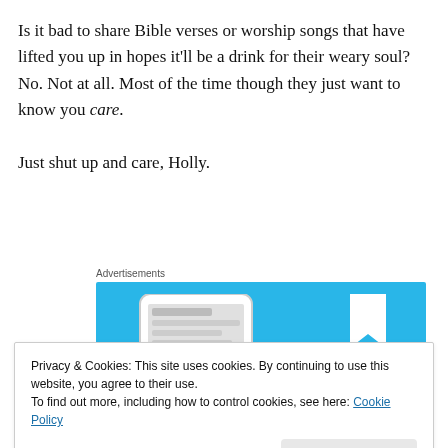Is it bad to share Bible verses or worship songs that have lifted you up in hopes it'll be a drink for their weary soul? No. Not at all. Most of the time though they just want to know you care.

Just shut up and care, Holly.
Advertisements
[Figure (screenshot): Blue advertisement banner showing a smartphone and a bookmark icon on a light blue background.]
Privacy & Cookies: This site uses cookies. By continuing to use this website, you agree to their use.
To find out more, including how to control cookies, see here: Cookie Policy
Close and accept